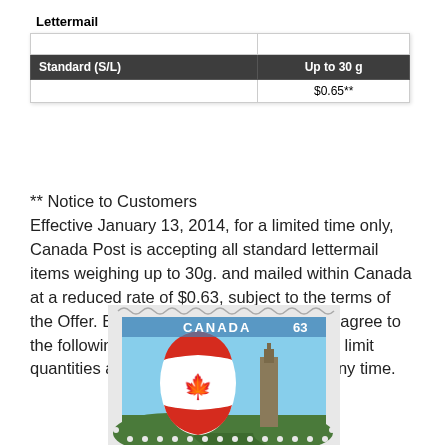| Standard (S/L) | Up to 30 g |
| --- | --- |
|  | $0.65** |
** Notice to Customers
Effective January 13, 2014, for a limited time only, Canada Post is accepting all standard lettermail items weighing up to 30g. and mailed within Canada at a reduced rate of $0.63, subject to the terms of the Offer. By participating in the Offer, you agree to the following. Canada Post has the right to limit quantities and can terminate the Offer at any time.
[Figure (photo): A Canadian postage stamp showing a Canadian flag and a value of 63 cents, with perforated edges visible.]